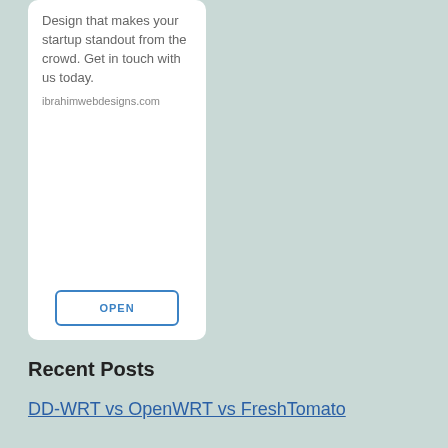Design that makes your startup standout from the crowd. Get in touch with us today.
ibrahimwebdesigns.com
OPEN
Recent Posts
DD-WRT vs OpenWRT vs FreshTomato